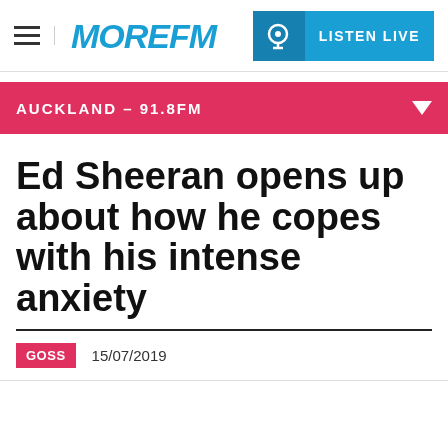MORE FM | AUCKLAND - 91.8FM | LISTEN LIVE
Ed Sheeran opens up about how he copes with his intense anxiety
GOSS  15/07/2019